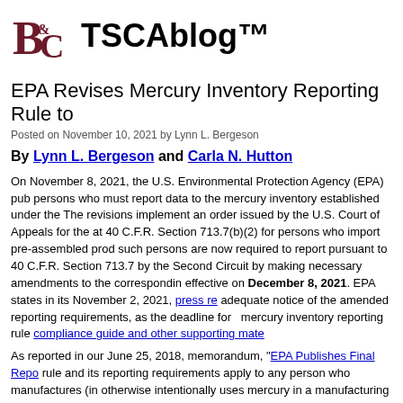[Figure (logo): B&C law firm logo in dark red/maroon]
TSCAblog™
EPA Revises Mercury Inventory Reporting Rule to
Posted on November 10, 2021 by Lynn L. Bergeson
By Lynn L. Bergeson and Carla N. Hutton
On November 8, 2021, the U.S. Environmental Protection Agency (EPA) pub... persons who must report data to the mercury inventory established under the... The revisions implement an order issued by the U.S. Court of Appeals for the... at 40 C.F.R. Section 713.7(b)(2) for persons who import pre-assembled prod... such persons are now required to report pursuant to 40 C.F.R. Section 713.7... by the Second Circuit by making necessary amendments to the correspondin... effective on December 8, 2021. EPA states in its November 2, 2021, press re... adequate notice of the amended reporting requirements, as the deadline for ... mercury inventory reporting rule compliance guide and other supporting mate...
As reported in our June 25, 2018, memorandum, "EPA Publishes Final Repo... rule and its reporting requirements apply to any person who manufactures (in... otherwise intentionally uses mercury in a manufacturing process (including p... manufacture of pharmaceuticals and pesticides).